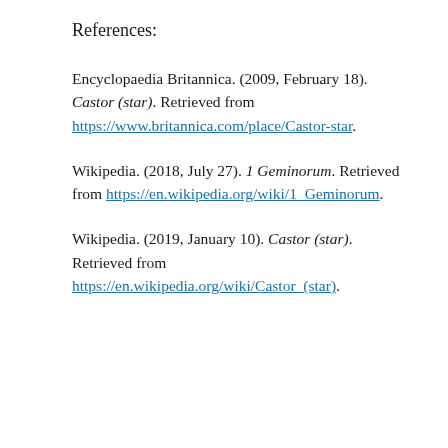References:
Encyclopaedia Britannica. (2009, February 18). Castor (star). Retrieved from https://www.britannica.com/place/Castor-star.
Wikipedia. (2018, July 27). 1 Geminorum. Retrieved from https://en.wikipedia.org/wiki/1_Geminorum.
Wikipedia. (2019, January 10). Castor (star). Retrieved from https://en.wikipedia.org/wiki/Castor_(star).